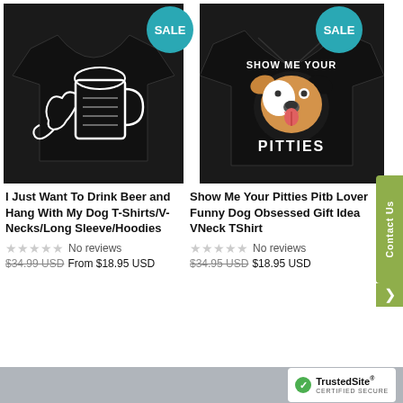[Figure (photo): Black t-shirt with beer mug and dog graphic, SALE badge (teal circle) in top right]
[Figure (photo): Black v-neck t-shirt with 'Show Me Your Pitties' pitbull graphic, SALE badge (teal circle) in top right]
I Just Want To Drink Beer and Hang With My Dog T-Shirts/V-Necks/Long Sleeve/Hoodies
No reviews
$34.99 USD From $18.95 USD
Show Me Your Pitties Pitb Lover Funny Dog Obsessed Gift Idea VNeck TShirt
No reviews
$34.95 USD $18.95 USD